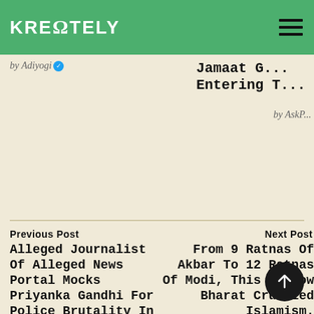KREONTELY
by Adiyogi ✓
Jamaat G... Entering T...
by AskP...
Previous Post
Alleged Journalist Of Alleged News Portal Mocks Priyanka Gandhi For Police Brutality In Punjab
Next Post
From 9 Ratnas Of Akbar To 12 Ratnas Of Modi, This Is How Bharat Crumbled Islamism.
Leave A Comment
You must be logged in to post a comment.